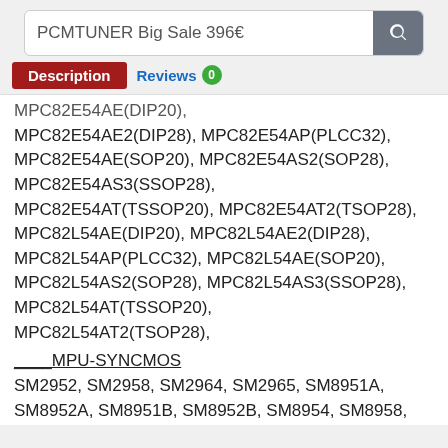PCMTUNER Big Sale 396€
Description | Reviews 0
MPC82E54AE(DIP20), MPC82E54AE2(DIP28), MPC82E54AP(PLCC32), MPC82E54AE(SOP20), MPC82E54AS2(SOP28), MPC82E54AS3(SSOP28), MPC82E54AT(TSSOP20), MPC82E54AT2(TSOP28), MPC82L54AE(DIP20), MPC82L54AE2(DIP28), MPC82L54AP(PLCC32), MPC82L54AE(SOP20), MPC82L54AS2(SOP28), MPC82L54AS3(SSOP28), MPC82L54AT(TSSOP20), MPC82L54AT2(TSOP28), ____MPU-SYNCMOS SM2952, SM2958, SM2964, SM2965, SM8951A, SM8952A, SM8951B, SM8952B, SM8954, SM8958, SM89516, SM89516C, SM89516L, SM8954A, SM8958A, SM89516A, SSU7301, SM7908, SM79108, SM89S16R1, SM7964, SM79164, SM5964C, SM5964A,